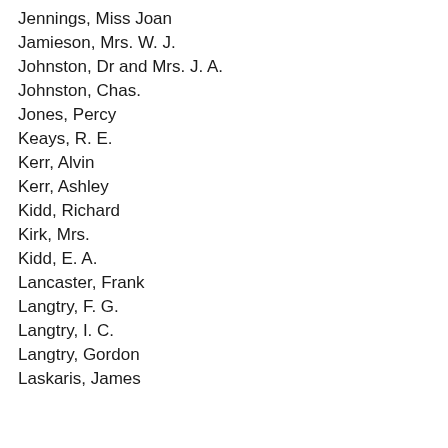Jennings, Miss Joan
Jamieson, Mrs. W. J.
Johnston, Dr and Mrs. J. A.
Johnston, Chas.
Jones, Percy
Keays, R. E.
Kerr, Alvin
Kerr, Ashley
Kidd, Richard
Kirk, Mrs.
Kidd, E. A.
Lancaster, Frank
Langtry, F. G.
Langtry, I. C.
Langtry, Gordon
Laskaris, James